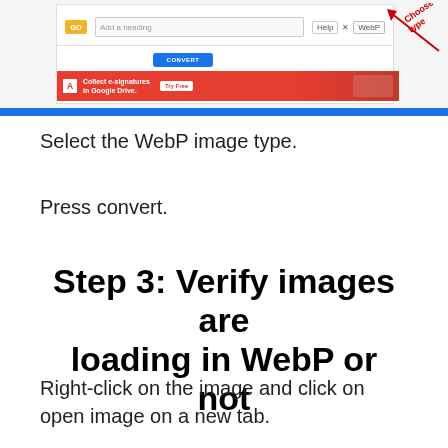[Figure (screenshot): Screenshot of a web-based image conversion tool showing a yellow 'GO' button, an input field labeled 'Add a heading', a blue CONVERT button, a dropdown with WebP option, and a red Adobe e-signature banner. An arrow annotation reads 'Choose this image type' pointing to the WebP option.]
Select the WebP image type.
Press convert.
Step 3: Verify images are loading in WebP or not
Right-click on the image and click on open image on a new tab.